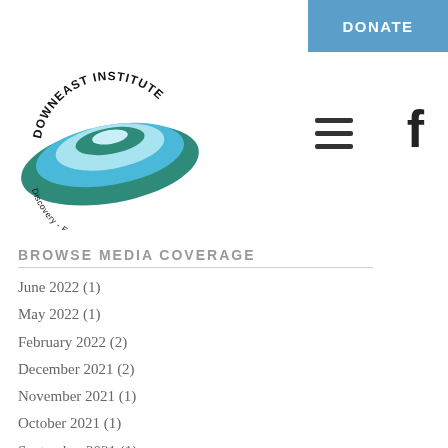[Figure (logo): Downeast Institute logo with swirl waves and text 'Discovery - Education - Innovation']
Browse Media Coverage
June 2022 (1)
May 2022 (1)
February 2022 (2)
December 2021 (2)
November 2021 (1)
October 2021 (1)
September 2021 (1)
August 2021 (1)
July 2021 (2)